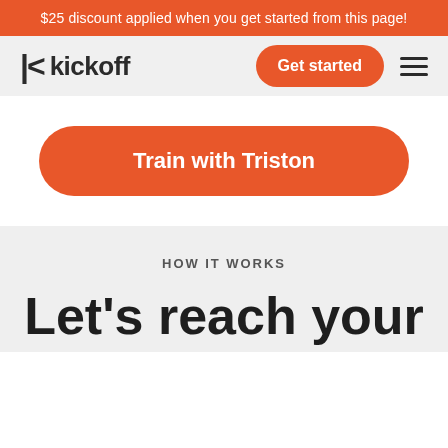$25 discount applied when you get started from this page!
[Figure (logo): Kickoff logo with stylized K icon and the word kickoff in bold dark text]
Get started
Train with Triston
HOW IT WORKS
Let's reach your